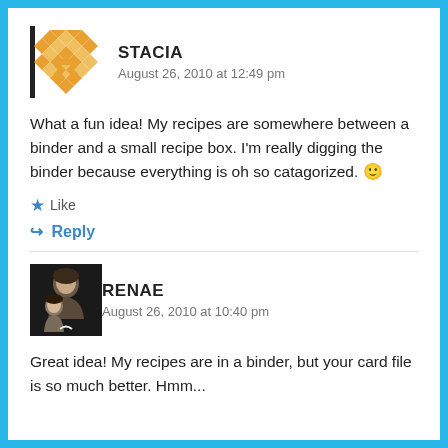[Figure (illustration): Stacia avatar: decorative geometric/quilt pattern icon in orange/gold with a black left border bar]
STACIA
August 26, 2010 at 12:49 pm
What a fun idea! My recipes are somewhere between a binder and a small recipe box. I’m really digging the binder because everything is oh so catagorized. 🙂
★ Like
↪ Reply
[Figure (photo): Renae avatar: photo of a woman and child, dark background]
RENAE
August 26, 2010 at 10:40 pm
Great idea! My recipes are in a binder, but your card file is so much better. Hmm...